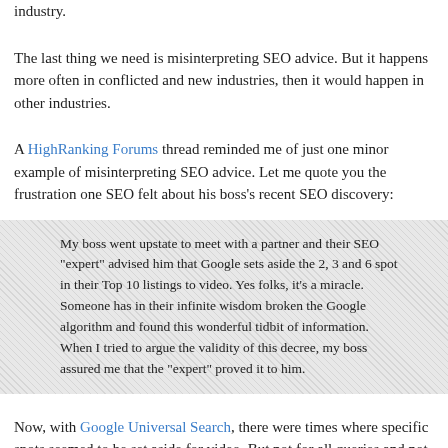industry.
The last thing we need is misinterpreting SEO advice. But it happens more often in conflicted and new industries, then it would happen in other industries.
A HighRanking Forums thread reminded me of just one minor example of misinterpreting SEO advice. Let me quote you the frustration one SEO felt about his boss's recent SEO discovery:
My boss went upstate to meet with a partner and their SEO "expert" advised him that Google sets aside the 2, 3 and 6 spot in their Top 10 listings to video. Yes folks, it's a miracle. Someone has in their infinite wisdom broken the Google algorithm and found this wonderful tidbit of information. When I tried to argue the validity of this decree, my boss assured me that the "expert" proved it to him.
Now, with Google Universal Search, there were times where specific spots seemed to be set aside for video. But not for all queries and not all the time. Even nowadays, it seems like the specific spots that appeared to be set aside to video, in some queries, are no longer the same spots. A video can now show up in